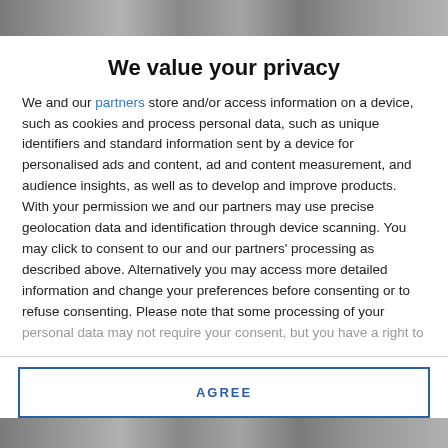[Figure (photo): Partial photo visible at the top of the page, cropped, showing people or a scene, rendered as a dark striped banner.]
We value your privacy
We and our partners store and/or access information on a device, such as cookies and process personal data, such as unique identifiers and standard information sent by a device for personalised ads and content, ad and content measurement, and audience insights, as well as to develop and improve products. With your permission we and our partners may use precise geolocation data and identification through device scanning. You may click to consent to our and our partners' processing as described above. Alternatively you may access more detailed information and change your preferences before consenting or to refuse consenting. Please note that some processing of your personal data may not require your consent, but you have a right to
AGREE
MORE OPTIONS
[Figure (photo): Partial photo visible at the bottom of the page, cropped.]